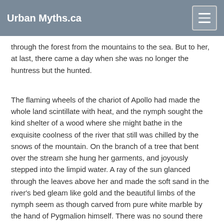Urban Myths.ca
through the forest from the mountains to the sea. But to her, at last, there came a day when she was no longer the huntress but the hunted.
The flaming wheels of the chariot of Apollo had made the whole land scintillate with heat, and the nymph sought the kind shelter of a wood where she might bathe in the exquisite coolness of the river that still was chilled by the snows of the mountain. On the branch of a tree that bent over the stream she hung her garments, and joyously stepped into the limpid water. A ray of the sun glanced through the leaves above her and made the soft sand in the river's bed gleam like gold and the beautiful limbs of the nymph seem as though carved from pure white marble by the hand of Pygmalion himself. There was no sound there but the